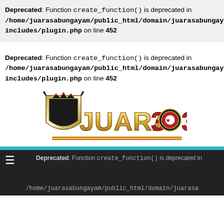Deprecated: Function create_function() is deprecated in /home/juarasabungayam/public_html/domain/juarasabungayam.online/wp-includes/plugin.php on line 452
Deprecated: Function create_function() is deprecated in /home/juarasabungayam/public_html/domain/juarasabungayam.online/wp-includes/plugin.php on line 452
[Figure (logo): JUARA303 logo with crown and shield, gold metallic text]
Deprecated: Function create_function() is deprecated in /home/juarasabungayam/public_html/domain/juarasa